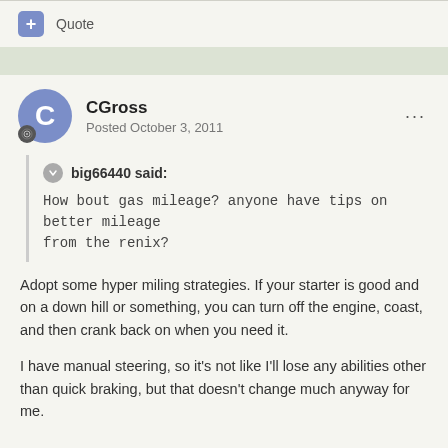+ Quote
CGross
Posted October 3, 2011
big66440 said:
How bout gas mileage? anyone have tips on better mileage from the renix?
Adopt some hyper miling strategies. If your starter is good and on a down hill or something, you can turn off the engine, coast, and then crank back on when you need it.
I have manual steering, so it's not like I'll lose any abilities other than quick braking, but that doesn't change much anyway for me.